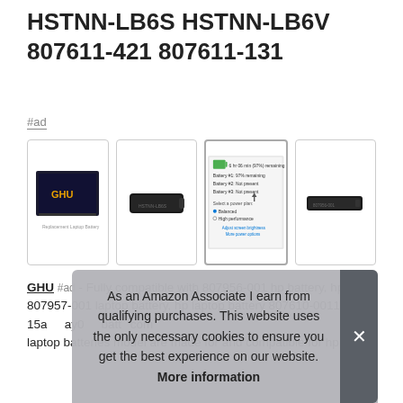HSTNN-LB6S HSTNN-LB6V 807611-421 807611-131
#ad
[Figure (photo): Four product thumbnail images of laptop batteries. First shows GHU branded battery box. Second shows a black laptop battery. Third (selected/highlighted) shows a Windows battery status screenshot showing 'Battery #1: 97% remaining, Battery #2: Not present, Battery #3: Not present'. Fourth shows another black laptop battery.]
GHU #ad - Fully compatible with 807956-001 hp battery, hp 807957-001 laptop battery, hp laptop battery 807610-0011 15a... ay0... batt... com... laptop batteries model are made for and compatible for hp 240
As an Amazon Associate I earn from qualifying purchases. This website uses the only necessary cookies to ensure you get the best experience on our website. More information